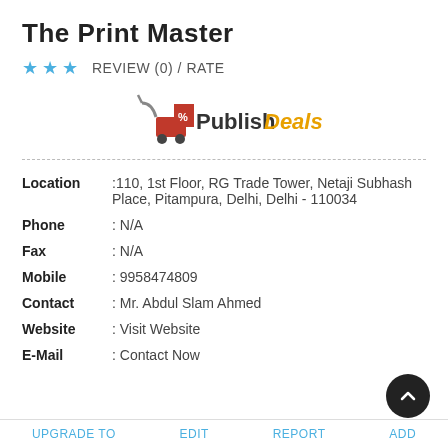The Print Master
★ ★ ★   REVIEW (0) / RATE
[Figure (logo): Publish Deals logo with a shopping cart icon and percent tag, text 'Publish' in dark and 'Deals' in orange/yellow]
Location : 110, 1st Floor, RG Trade Tower, Netaji Subhash Place, Pitampura, Delhi, Delhi - 110034
Phone : N/A
Fax : N/A
Mobile : 9958474809
Contact : Mr. Abdul Slam Ahmed
Website : Visit Website
E-Mail : Contact Now
UPGRADE TO     EDIT     REPORT     ADD